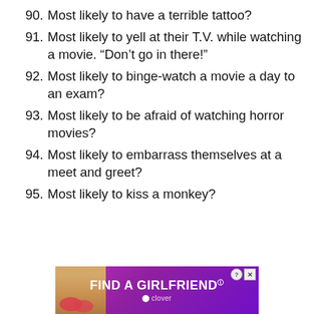90. Most likely to have a terrible tattoo?
91. Most likely to yell at their T.V. while watching a movie. “Don’t go in there!”
92. Most likely to binge-watch a movie a day to an exam?
93. Most likely to be afraid of watching horror movies?
94. Most likely to embarrass themselves at a meet and greet?
95. Most likely to kiss a monkey?
[Figure (screenshot): Advertisement banner: purple gradient background with text 'FIND A GIRLFRIEND' in white bold uppercase letters and 'clover' branding below, with a photo of a woman on the left side and close/help buttons on the top right.]